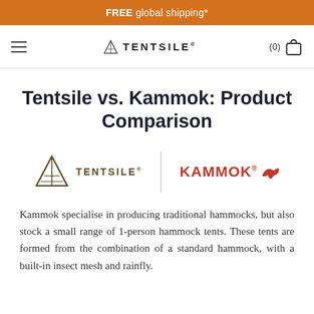FREE global shipping*
[Figure (logo): Tentsile brand navigation header with hamburger menu, Tentsile logo with triangle icon, and cart icon showing (0) items]
Tentsile vs. Kammok: Product Comparison
[Figure (logo): Side-by-side logos: Tentsile (dark olive triangle icon with TENTSILE® text) and Kammok (red bold KAMMOK® text with kangaroo icon), separated by a vertical line]
Kammok specialise in producing traditional hammocks, but also stock a small range of 1-person hammock tents. These tents are formed from the combination of a standard hammock, with a built-in insect mesh and rainfly.